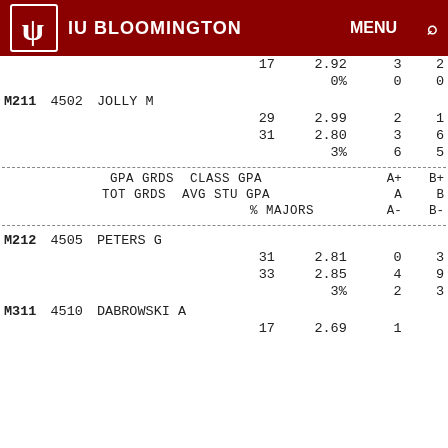IU BLOOMINGTON
| CODE | NUM | NAME | D1 | D2 | D3 | D4 |
| --- | --- | --- | --- | --- | --- | --- |
|  |  |  | 17 | 2.92 | 3 | 2 |
|  |  |  |  | 0% | 0 | 0 |
| M211 | 4502 | JOLLY M |  |  |  |  |
|  |  |  | 29 | 2.99 | 2 | 1 |
|  |  |  | 31 | 2.80 | 3 | 6 |
|  |  |  |  | 3% | 6 | 5 |
| ---DASHED--- |  |  |  |  |  |  |
|  |  | GPA GRDS | CLASS GPA |  | A+ | B+ |
|  |  | TOT GRDS | AVG STU GPA |  | A | B |
|  |  |  | % MAJORS |  | A- | B- |
| ---DASHED--- |  |  |  |  |  |  |
| M212 | 4505 | PETERS G |  |  |  |  |
|  |  |  | 31 | 2.81 | 0 | 3 |
|  |  |  | 33 | 2.85 | 4 | 9 |
|  |  |  |  | 3% | 2 | 3 |
| M311 | 4510 | DABROWSKI A |  |  |  |  |
|  |  |  | 17 | 2.69 | 1 |  |